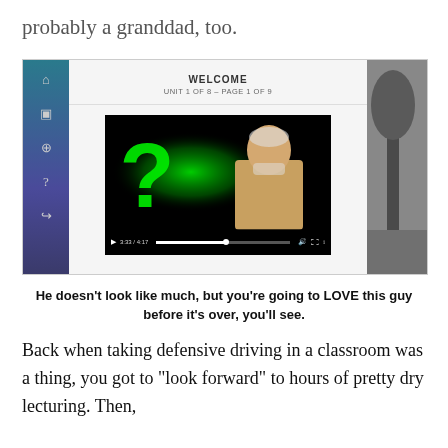probably a granddad, too.
[Figure (screenshot): Screenshot of an online defensive driving course interface showing 'WELCOME - UNIT 1 OF 8 - PAGE 1 OF 9' with a video player displaying a man standing next to a glowing green question mark. Video progress shows 3:33/4:17.]
He doesn't look like much, but you're going to LOVE this guy before it's over, you'll see.
Back when taking defensive driving in a classroom was a thing, you got to "look forward" to hours of pretty dry lecturing. Then,